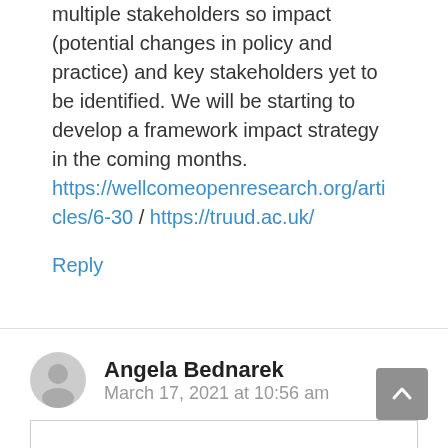multiple stakeholders so impact (potential changes in policy and practice) and key stakeholders yet to be identified. We will be starting to develop a framework impact strategy in the coming months. https://wellcomeopenresearch.org/articles/6-30 / https://truud.ac.uk/
Reply
Angela Bednarek
March 17, 2021 at 10:56 am